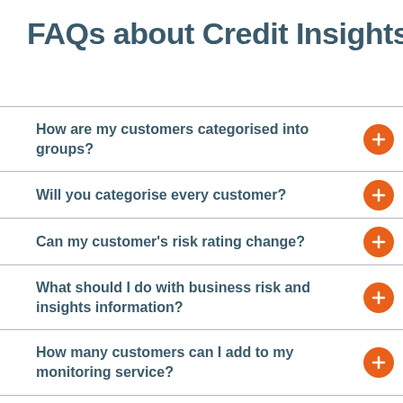FAQs about Credit Insights
How are my customers categorised into groups?
Will you categorise every customer?
Can my customer's risk rating change?
What should I do with business risk and insights information?
How many customers can I add to my monitoring service?
How quickly will I receive business risk